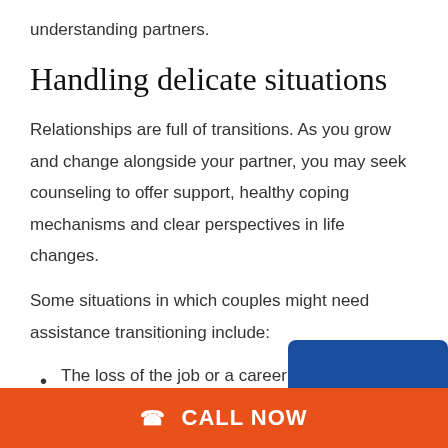understanding partners.
Handling delicate situations
Relationships are full of transitions. As you grow and change alongside your partner, you may seek counseling to offer support, healthy coping mechanisms and clear perspectives in life changes.
Some situations in which couples might need assistance transitioning include:
The loss of the job or a career change;
The first few months after m
CALL NOW